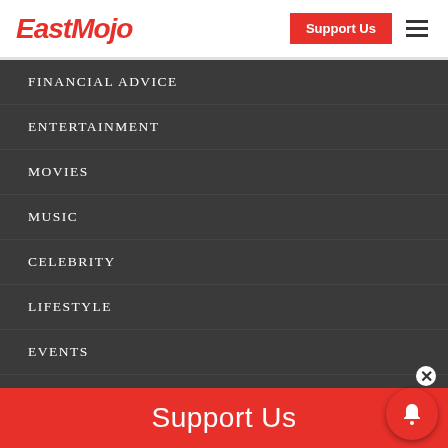EastMojo
FINANCIAL ADVICE
ENTERTAINMENT
MOVIES
MUSIC
CELEBRITY
LIFESTYLE
EVENTS
FESTIVAL
FOOD
TRAVEL
Support Us